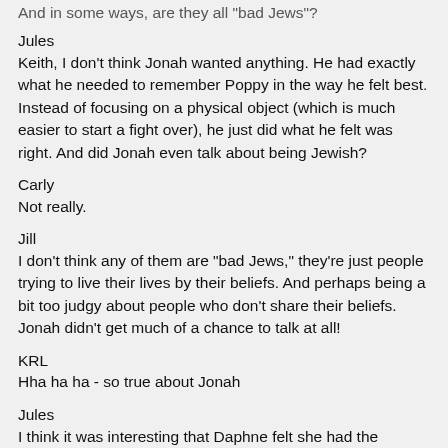And in some ways, are they all "bad Jews"?
Jules
Keith, I don't think Jonah wanted anything. He had exactly what he needed to remember Poppy in the way he felt best. Instead of focusing on a physical object (which is much easier to start a fight over), he just did what he felt was right. And did Jonah even talk about being Jewish?
Carly
Not really.
Jill
I don't think any of them are "bad Jews," they're just people trying to live their lives by their beliefs. And perhaps being a bit too judgy about people who don't share their beliefs. Jonah didn't get much of a chance to talk at all!
KRL
Hha ha ha - so true about Jonah
Jules
I think it was interesting that Daphne felt she had the greater